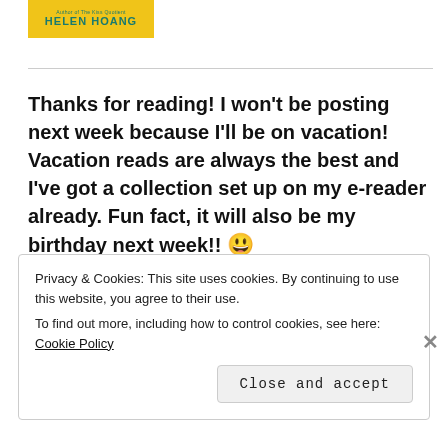[Figure (illustration): Book cover element showing 'HELEN HOANG' author name on a yellow background with teal text, including 'Author of The Kiss Quotient' subtitle]
Thanks for reading! I won’t be posting next week because I’ll be on vacation! Vacation reads are always the best and I’ve got a collection set up on my e-reader already. Fun fact, it will also be my birthday next week!! 😃
Privacy & Cookies: This site uses cookies. By continuing to use this website, you agree to their use. To find out more, including how to control cookies, see here: Cookie Policy
Close and accept